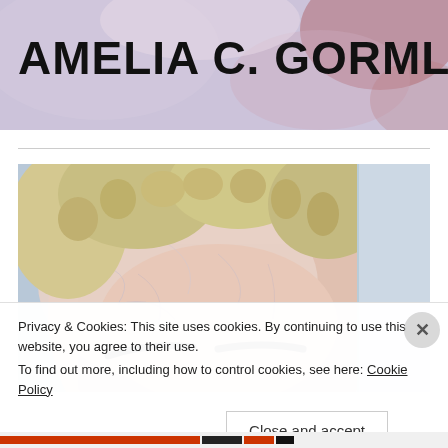[Figure (illustration): Website header banner with abstract painted background in purple, pink, and red tones]
AMELIA C. GORMLEY
[Figure (photo): Close-up photograph of a person's face with curly blonde/gray hair, appearing pressed against or seen through ice or frosted glass, showing forehead and eyebrows]
Privacy & Cookies: This site uses cookies. By continuing to use this website, you agree to their use.
To find out more, including how to control cookies, see here: Cookie Policy
Close and accept